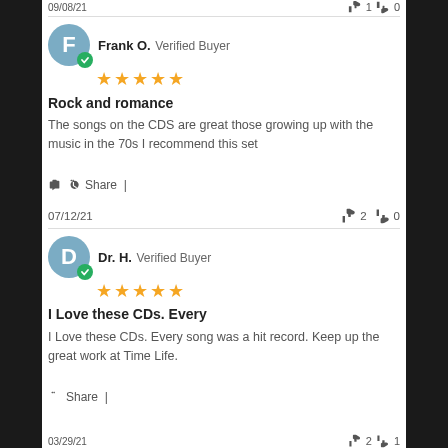09/08/21
Frank O. Verified Buyer
Rock and romance
The songs on the CDS are great those growing up with the music in the 70s I recommend this set
Share |
07/12/21  👍 2  👎 0
Dr. H. Verified Buyer
I Love these CDs. Every
I Love these CDs. Every song was a hit record. Keep up the great work at Time Life.
Share |
03/29/21  👍 2  👎 1